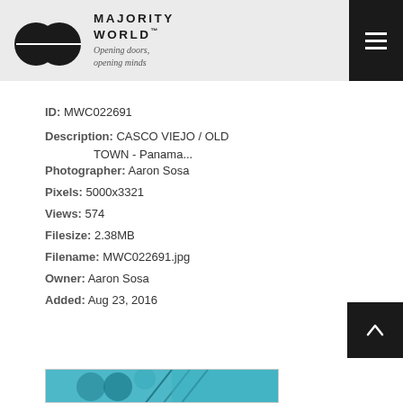MAJORITY WORLD™ — Opening doors, opening minds
ID: MWC022691
Description: CASCO VIEJO / OLD TOWN - Panama...
Photographer: Aaron Sosa
Pixels: 5000x3321
Views: 574
Filesize: 2.38MB
Filename: MWC022691.jpg
Owner: Aaron Sosa
Added: Aug 23, 2016
[Figure (photo): Partial thumbnail of a photo, appears to show teal/blue tones, likely the Panama Old Town image]